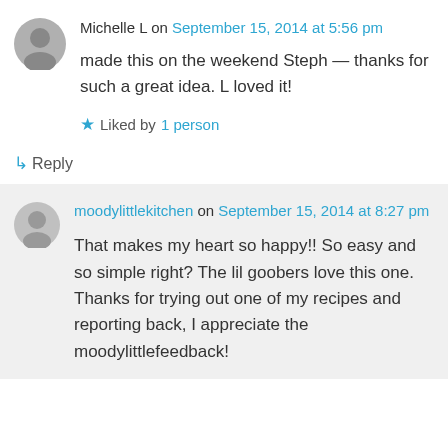Michelle L on September 15, 2014 at 5:56 pm
made this on the weekend Steph — thanks for such a great idea. L loved it!
Liked by 1 person
↳ Reply
moodylittlekitchen on September 15, 2014 at 8:27 pm
That makes my heart so happy!! So easy and so simple right? The lil goobers love this one. Thanks for trying out one of my recipes and reporting back, I appreciate the moodylittlefeedback!